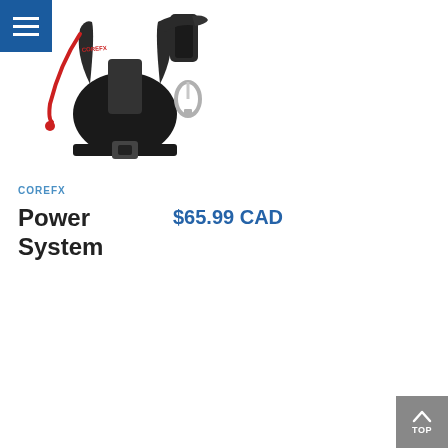[Figure (photo): Product photo of COREFX Power System equipment — black harness/vest with red resistance band, carabiner clip, and accessories on white background]
COREFX
Power System
$65.99 CAD